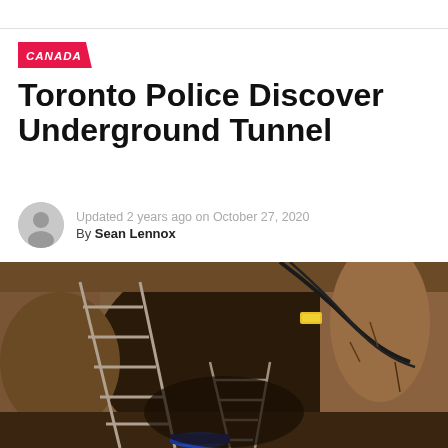CANADA
Toronto Police Discover Underground Tunnel
Updated 2 years ago on October 27, 2020
By Sean Lennox
[Figure (photo): Interior view of a dug-out underground tunnel with a wooden/metal ladder going down, electrical cables running along the earthen walls, photographed from above looking down.]